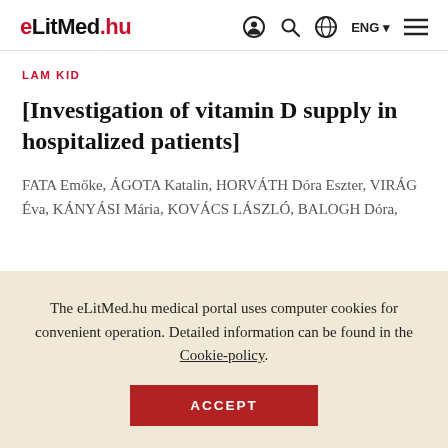eLitMed.hu  ENG
LAM KID
[Investigation of vitamin D supply in hospitalized patients]
FATA Emőke, ÁGOTA Katalin, HORVÁTH Dóra Eszter, VIRÁG Éva, KÁNYÁSI Mária, KOVÁCS LÁSZLÓ, BALOGH Dóra,
The eLitMed.hu medical portal uses computer cookies for convenient operation. Detailed information can be found in the Cookie-policy.
ACCEPT